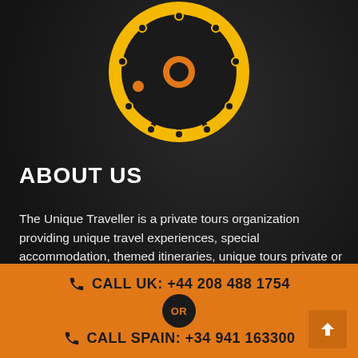[Figure (logo): The Unique Traveller logo — a yellow circle with a black stylized sun/network icon (black spokes with small circles at tips, orange center circle) on a dark background]
ABOUT US
The Unique Traveller is a private tours organization providing unique travel experiences, special accommodation, themed itineraries, unique tours private or scheduled, events, incentive travel and conferences in Spain for individuals...
CALL UK: +44 208 488 1754
OR
CALL SPAIN: +34 941 163300